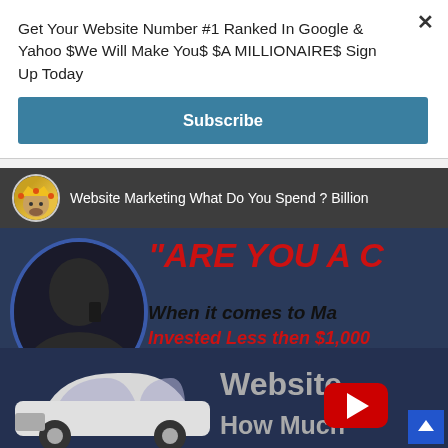Get Your Website Number #1 Ranked In Google & Yahoo $We Will Make You$ $A MILLIONAIRE$ Sign Up Today
[Figure (screenshot): A blue 'Subscribe' button in a popup overlay]
[Figure (screenshot): YouTube video thumbnail showing: channel avatar with crown icon, video title 'Website Marketing What Do You Spend ? Billion...', thumbnail with text '"ARE YOU A C...' in red, 'When it comes to Ma...' in dark bold italic, 'Invested Less then $1,000...' in red italic, a white luxury car, and 'Website How Much' text with YouTube play button overlay. An up-arrow navigation button in bottom right.]